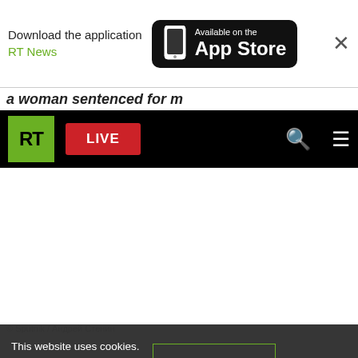[Figure (screenshot): App Store download banner with RT News branding and phone icon]
a woman sentenced for m...
[Figure (logo): RT navigation bar with green RT logo, red LIVE button, search icon and hamburger menu on black background]
[Figure (photo): White/blank image area (photo content area)]
© Sputnik / Андрей Стенин
This website uses cookies. Read RT Privacy policy to find out more.
Accept cookies